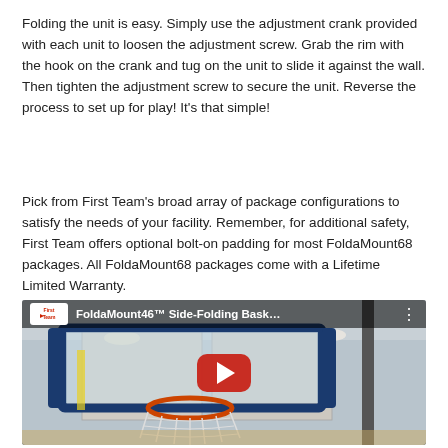Folding the unit is easy. Simply use the adjustment crank provided with each unit to loosen the adjustment screw. Grab the rim with the hook on the crank and tug on the unit to slide it against the wall. Then tighten the adjustment screw to secure the unit. Reverse the process to set up for play! It's that simple!
Pick from First Team's broad array of package configurations to satisfy the needs of your facility. Remember, for additional safety, First Team offers optional bolt-on padding for most FoldaMount68 packages. All FoldaMount68 packages come with a Lifetime Limited Warranty.
[Figure (screenshot): YouTube video thumbnail for FoldaMount46™ Side-Folding Bask... showing a basketball hoop and backboard in a gymnasium, with a red YouTube play button overlay and the video title in the top bar.]